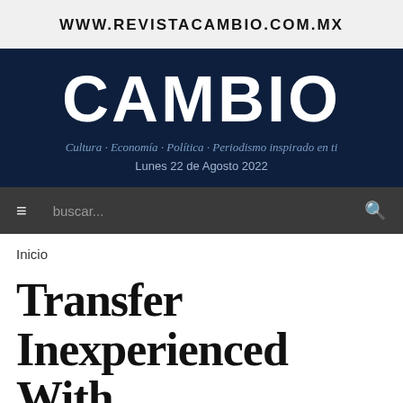WWW.REVISTACAMBIO.COM.MX
[Figure (logo): CAMBIO magazine logo with tagline 'Cultura · Economía · Política · Periodismo inspirado en ti' and date 'Lunes 22 de Agosto 2022' on dark navy background]
≡  buscar...  🔍
Inicio
Transfer Inexperienced With